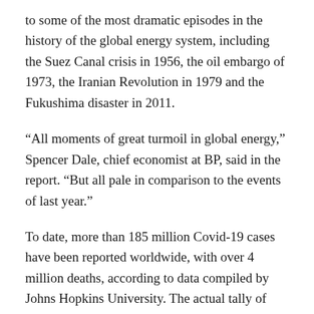to some of the most dramatic episodes in the history of the global energy system, including the Suez Canal crisis in 1956, the oil embargo of 1973, the Iranian Revolution in 1979 and the Fukushima disaster in 2011.
“All moments of great turmoil in global energy,” Spencer Dale, chief economist at BP, said in the report. “But all pale in comparison to the events of last year.”
To date, more than 185 million Covid-19 cases have been reported worldwide, with over 4 million deaths, according to data compiled by Johns Hopkins University. The actual tally of Covid-19 infections and fatalities is believed to be far higher — and continues to rise.
The pandemic also led to massive economic loss, with global GDP estimated to have slipped by around 3.3% last